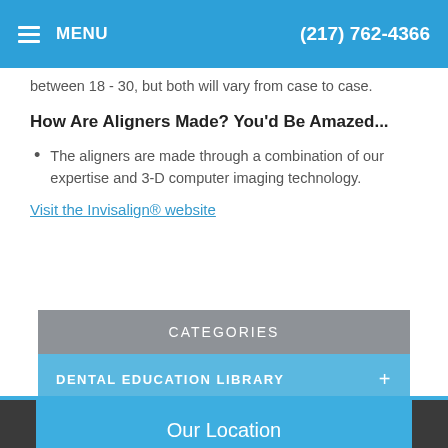MENU  (217) 762-4366
between 18 - 30, but both will vary from case to case.
How Are Aligners Made? You'd Be Amazed...
The aligners are made through a combination of our expertise and 3-D computer imaging technology.
Visit the Invisalign® website
CATEGORIES
DENTAL EDUCATION LIBRARY